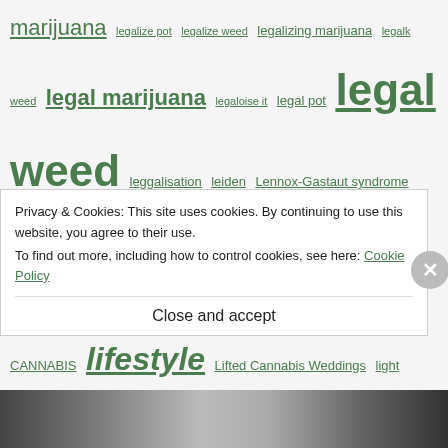marijuana legalize pot legalize weed legalizing marijuana legalk weed legal marijuana legaloise it legal pot legal weed leggalisation leiden Lennox-Gastaut syndrome lesotho lesttalkcannabis leukemia LEVO Infusion lexington cannabis liberal licensed cannabis licensed marijuana licensed medicinal cannabis lidl cannabis LIES CANNABIS lifestyle Lifted Cannabis Weddings light cannabis limonene linalool Lithuania lithuania cannabis liver liver disease london cannabios Long Trail Brewing Co loose leaf cannabis Lord Jones lOS LOS ANGELES CANNABIS lostongreenmile love love cannabis lovecannabis low thc Lumir Lab lung cancer lupus
Privacy & Cookies: This site uses cookies. By continuing to use this website, you agree to their use. To find out more, including how to control cookies, see here: Cookie Policy
Close and accept